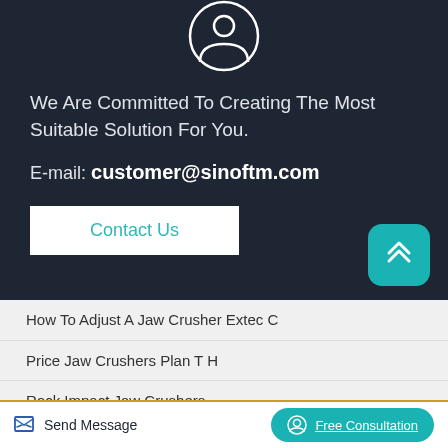[Figure (illustration): Person/user silhouette icon inside a circle, white on dark background]
We Are Committed To Creating The Most Suitable Solution For You.
E-mail: customer@sinoftm.com
Contact Us
[Figure (illustration): Teal rounded square button with upward chevron arrow for scroll-to-top]
How To Adjust A Jaw Crusher Extec C
Price Jaw Crushers Plan T H
Rock Impact Jaw Crushers
Send Message
Free Consultation